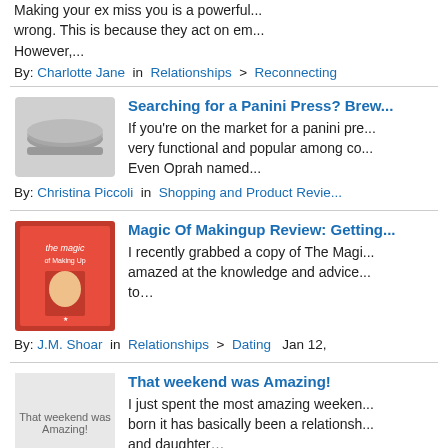Making your ex miss you is a powerful... wrong. This is because they act on em... However,...
By: Charlotte Jane in Relationships > Reconnecting
Searching for a Panini Press? Brew...
[Figure (photo): Photo of a panini press]
If you're on the market for a panini pre... very functional and popular among co... Even Oprah named...
By: Christina Piccoli in Shopping and Product Revie...
Magic Of Makingup Review: Getting...
[Figure (photo): Book cover of The Magic of Making Up]
I recently grabbed a copy of The Magi... amazed at the knowledge and advice... to…
By: J.M. Shoar in Relationships > Dating  Jan 12,
That weekend was Amazing!
[Figure (photo): Image placeholder: That weekend was Amazing!]
I just spent the most amazing weeken... born it has basically been a relationsh... and daughter…
By: alstallio in Relationships > Reconnecting  Jun